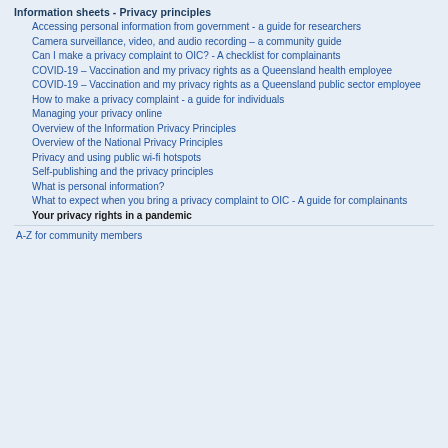Information sheets - Privacy principles
Accessing personal information from government - a guide for researchers
Camera surveillance, video, and audio recording – a community guide
Can I make a privacy complaint to OIC? - A checklist for complainants
COVID-19 – Vaccination and my privacy rights as a Queensland health employee
COVID-19 – Vaccination and my privacy rights as a Queensland public sector employee
How to make a privacy complaint - a guide for individuals
Managing your privacy online
Overview of the Information Privacy Principles
Overview of the National Privacy Principles
Privacy and using public wi-fi hotspots
Self-publishing and the privacy principles
What is personal information?
What to expect when you bring a privacy complaint to OIC - A guide for complainants
Your privacy rights in a pandemic
A-Z for community members